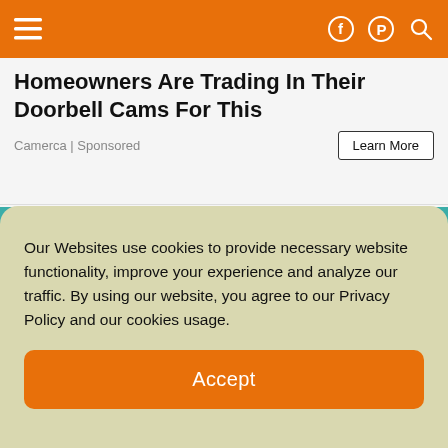≡  [Facebook icon] [Pinterest icon] [Search icon]
Homeowners Are Trading In Their Doorbell Cams For This
Camerca | Sponsored
Learn More
[Figure (illustration): Illustration of a hand touching or pressing on a human head/brain with decorative swirl patterns, against a teal textured background.]
Our Websites use cookies to provide necessary website functionality, improve your experience and analyze our traffic. By using our website, you agree to our Privacy Policy and our cookies usage.
Accept